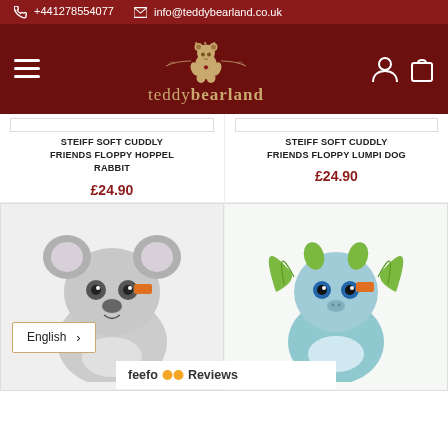+441278554077  info@teddybearland.co.uk
[Figure (logo): Teddybearland logo with bear illustration and decorative flourishes on dark red background]
STEIFF SOFT CUDDLY FRIENDS FLOPPY HOPPEL RABBIT
£24.90
STEIFF SOFT CUDDLY FRIENDS FLOPPY LUMPI DOG
£24.90
[Figure (photo): Grey koala stuffed animal toy by Steiff]
[Figure (photo): Blue-green dragon stuffed animal toy by Steiff with green wings]
English >
feefo Reviews